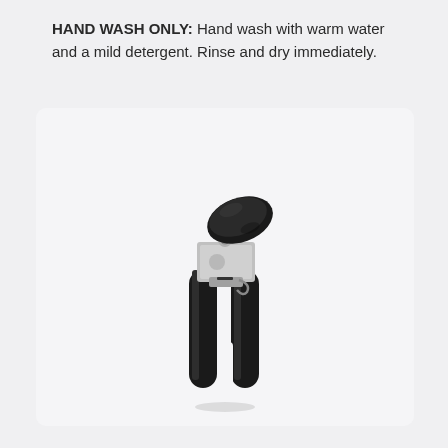HAND WASH ONLY: Hand wash with warm water and a mild detergent. Rinse and dry immediately.
[Figure (photo): A black and silver can opener with black ergonomic handles and a large black knob/turning wheel, shown against a light gray rounded rectangle background.]